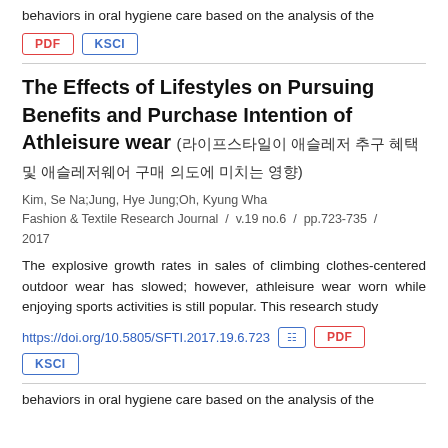behaviors in oral hygiene care based on the analysis of the
PDF  KSCI
The Effects of Lifestyles on Pursuing Benefits and Purchase Intention of Athleisure wear (라이프스타일이 애슬레저 추구 혜택 및 애슬레저웨어 구매 의도에 미치는 영향)
Kim, Se Na;Jung, Hye Jung;Oh, Kyung Wha
Fashion & Textile Research Journal  /  v.19 no.6  /  pp.723-735  /  2017
The explosive growth rates in sales of climbing clothes-centered outdoor wear has slowed; however, athleisure wear worn while enjoying sports activities is still popular. This research study
https://doi.org/10.5805/SFTI.2017.19.6.723  PDF  KSCI
behaviors in oral hygiene care based on the analysis of the